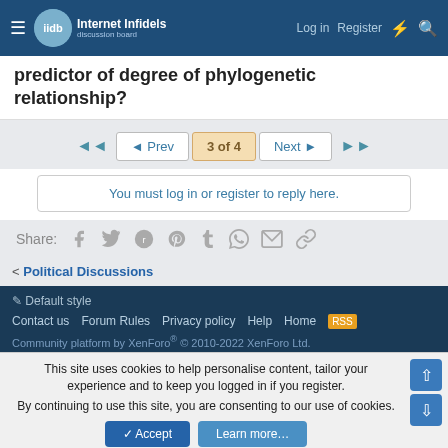Internet Infidels — Log in | Register
predictor of degree of phylogenetic relationship?
◄◄  ◄ Prev  3 of 4  Next ►  ►►
You must log in or register to reply here.
Share: (Facebook, Twitter, Reddit, Pinterest, Tumblr, WhatsApp, Email, Link)
< Political Discussions
✏ Default style
Contact us  Forum Rules  Privacy policy  Help  Home  [RSS]
Community platform by XenForo® © 2010-2022 XenForo Ltd.
This site uses cookies to help personalise content, tailor your experience and to keep you logged in if you register.
By continuing to use this site, you are consenting to our use of cookies.
✓ Accept   Learn more…